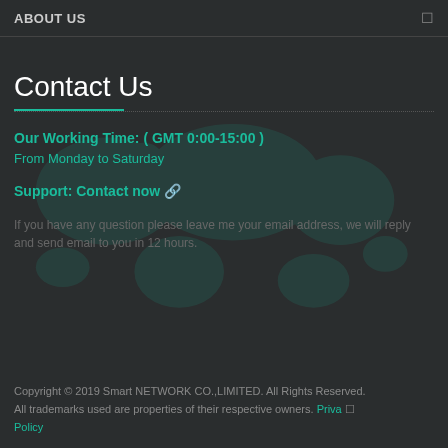ABOUT US
Contact Us
Our Working Time: ( GMT 0:00-15:00 )
From Monday to Saturday
Support: Contact now 🔗
If you have any question please leave me your email address, we will reply and send email to you in 12 hours.
Copyright © 2019 Smart NETWORK CO.,LIMITED. All Rights Reserved. All trademarks used are properties of their respective owners. Privacy Policy